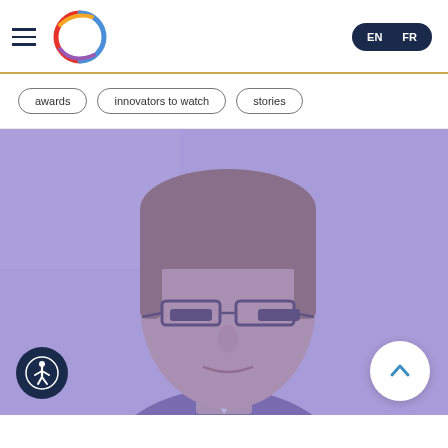EN FR navigation header with logo
awards
innovators to watch
stories
[Figure (photo): Portrait photo of a man wearing glasses and a suit, overlaid with a purple/blue tint. Accessibility icon button at bottom left and scroll-to-top button at bottom right.]